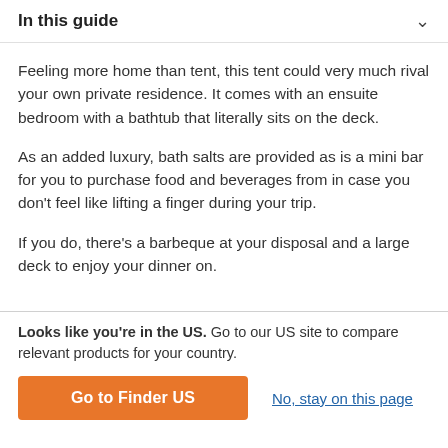In this guide
Feeling more home than tent, this tent could very much rival your own private residence. It comes with an ensuite bedroom with a bathtub that literally sits on the deck.
As an added luxury, bath salts are provided as is a mini bar for you to purchase food and beverages from in case you don't feel like lifting a finger during your trip.
If you do, there's a barbeque at your disposal and a large deck to enjoy your dinner on.
Looks like you're in the US. Go to our US site to compare relevant products for your country. | Go to Finder US | No, stay on this page